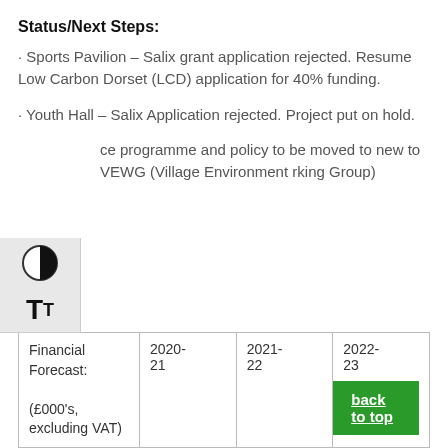Status/Next Steps:
· Sports Pavilion – Salix grant application rejected. Resume Low Carbon Dorset (LCD) application for 40% funding.
· Youth Hall – Salix Application rejected. Project put on hold.
ce programme and policy to be moved to new to VEWG (Village Environment rking Group)
| Financial Forecast:
(£000's, excluding VAT) | 2020-21 | 2021-22 | 2022-23 |
| --- | --- | --- | --- |
|  |  |  |  |